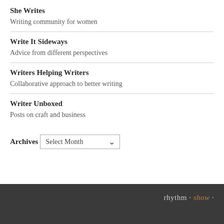She Writes
Writing community for women
Write It Sideways
Advice from different perspectives
Writers Helping Writers
Collaborative approach to better writing
Writer Unboxed
Posts on craft and business
Archives
Select Month
rhythm · show ·